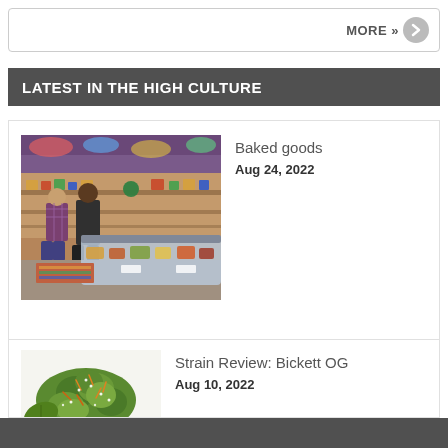MORE »
LATEST IN THE HIGH CULTURE
[Figure (photo): Interior of a cannabis dispensary showing customers at a display counter with baked goods and products under glass, colorful ceiling and shelves in background]
Baked goods
Aug 24, 2022
[Figure (photo): Close-up of a cannabis bud/flower on white background]
Strain Review: Bickett OG
Aug 10, 2022